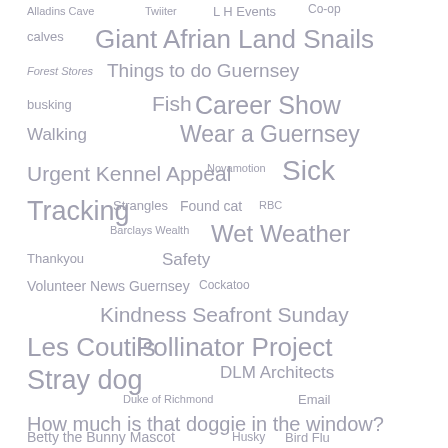[Figure (infographic): Tag cloud with various terms in different sizes arranged across the page, all in a muted grey-lavender color. Terms include: Alladins Cave, Twiiter, L H Events, Co-op, calves, Giant Afrian Land Snails, Forest Stores, Things to do Guernsey, busking, Fish, Career Show, Walking, Wear a Guernsey, Urgent Kennel Appeal, Novamotion, Sick, Tracking, Strangles, Found cat, RBC, Barclays Wealth, Wet Weather, Thankyou, Safety, Volunteer News Guernsey, Cockatoo, Kindness Seafront Sunday, Les Coutils, Pollinator Project, Stray dog, DLM Architects, Duke of Richmond, Email, How much is that doggie in the window?, Betty the Bunny Mascot, Husky, Bird Flu]